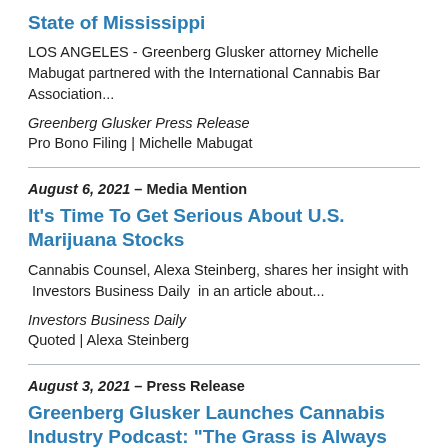State of Mississippi
LOS ANGELES - Greenberg Glusker attorney Michelle Mabugat partnered with the International Cannabis Bar Association...
Greenberg Glusker Press Release
Pro Bono Filing | Michelle Mabugat
August 6, 2021 – Media Mention
It's Time To Get Serious About U.S. Marijuana Stocks
Cannabis Counsel, Alexa Steinberg, shares her insight with  Investors Business Daily  in an article about...
Investors Business Daily
Quoted | Alexa Steinberg
August 3, 2021 – Press Release
Greenberg Glusker Launches Cannabis Industry Podcast: "The Grass is Always Greenberg"
LOS ANGELES – Greenberg Glusker's Cannabis Industry Group has launched its podcast 'The Grass...